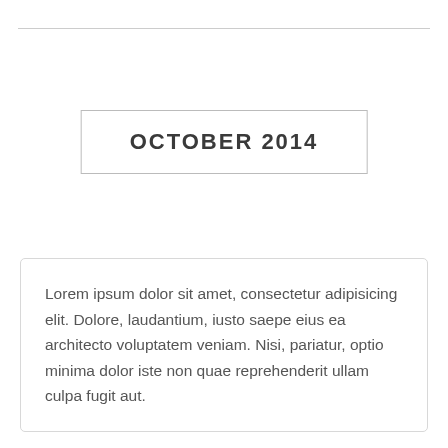OCTOBER 2014
Lorem ipsum dolor sit amet, consectetur adipisicing elit. Dolore, laudantium, iusto saepe eius ea architecto voluptatem veniam. Nisi, pariatur, optio minima dolor iste non quae reprehenderit ullam culpa fugit aut.